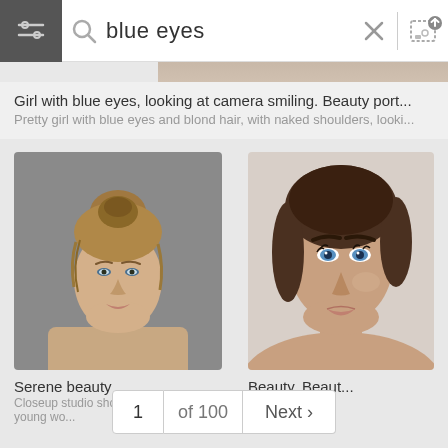[Figure (screenshot): Search bar UI with hamburger/filter icon on dark background, magnifying glass icon, text 'blue eyes', close X button, vertical divider, and image upload icon]
[Figure (photo): Partial top strip of a photo of a woman]
Girl with blue eyes, looking at camera smiling. Beauty port...
Pretty girl with blue eyes and blond hair, with naked shoulders, looki...
[Figure (photo): Portrait photo of woman with blonde hair in bun, bare shoulders, against grey background]
[Figure (photo): Closeup photo of brunette woman with blue eyes and bare shoulders against light background]
Serene beauty
Closeup studio shot of a beautiful young wo...
Beauty. Beaut...
1 of 100   Next >